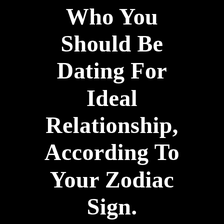WHO YOU SHOULD BE DATING FOR IDEAL RELATIONSHIP, ACCORDING TO YOUR ZODIAC SIGN.